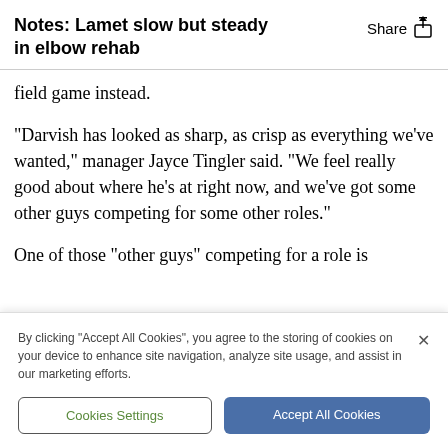Notes: Lamet slow but steady in elbow rehab
field game instead.
"Darvish has looked as sharp, as crisp as everything we've wanted," manager Jayce Tingler said. "We feel really good about where he's at right now, and we've got some other guys competing for some other roles."
One of those "other guys" competing for a role is
By clicking “Accept All Cookies”, you agree to the storing of cookies on your device to enhance site navigation, analyze site usage, and assist in our marketing efforts.